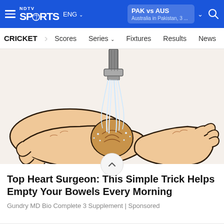NDTV SPORTS ENG | PAK vs AUS Australia in Pakistan, 3 ...
CRICKET | Scores | Series | Fixtures | Results | News
[Figure (illustration): Cartoon illustration of two hands cupping a ball under a running tap/faucet with water splashing]
Top Heart Surgeon: This Simple Trick Helps Empty Your Bowels Every Morning
Gundry MD Bio Complete 3 Supplement | Sponsored